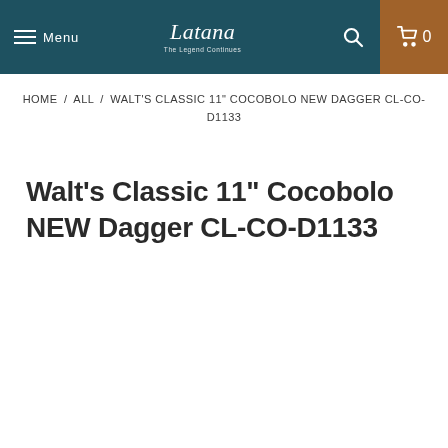Menu | Latana The Legend Continues | Search | Cart 0
HOME / ALL / WALT'S CLASSIC 11" COCOBOLO NEW DAGGER CL-CO-D1133
Walt's Classic 11" Cocobolo NEW Dagger CL-CO-D1133